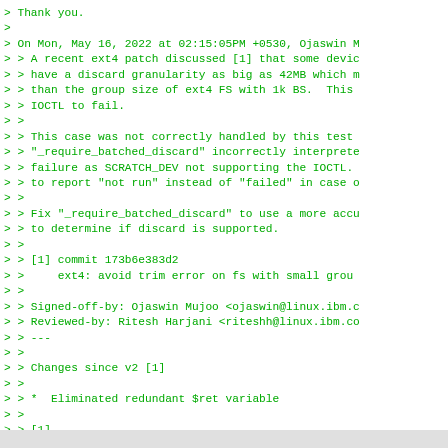> Thank you.
>
> On Mon, May 16, 2022 at 02:15:05PM +0530, Ojaswin M
> > A recent ext4 patch discussed [1] that some devic
> > have a discard granularity as big as 42MB which m
> > than the group size of ext4 FS with 1k BS.  This
> > IOCTL to fail.
> >
> > This case was not correctly handled by this test
> > "_require_batched_discard" incorrectly interprete
> > failure as SCRATCH_DEV not supporting the IOCTL.
> > to report "not run" instead of "failed" in case o
> >
> > Fix "_require_batched_discard" to use a more accu
> > to determine if discard is supported.
> >
> > [1] commit 173b6e383d2
> >     ext4: avoid trim error on fs with small grou
> >
> > Signed-off-by: Ojaswin Mujoo <ojaswin@linux.ibm.c
> > Reviewed-by: Ritesh Harjani <riteshh@linux.ibm.co
> > ---
> >
> > Changes since v2 [1]
> >
> > *  Eliminated redundant $ret variable
> >
> > [1]
> > https://lore.kernel.org/all/20220516063951.87838-
>